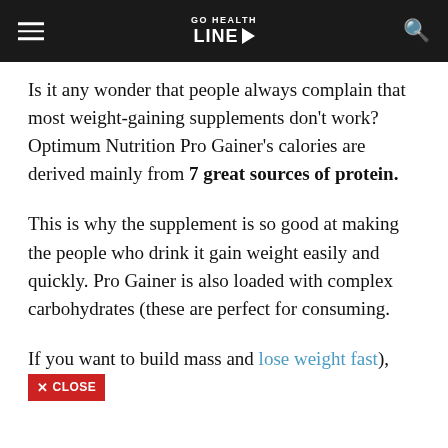GO HEALTH LINE
Is it any wonder that people always complain that most weight-gaining supplements don't work? Optimum Nutrition Pro Gainer's calories are derived mainly from 7 great sources of protein.
This is why the supplement is so good at making the people who drink it gain weight easily and quickly. Pro Gainer is also loaded with complex carbohydrates (these are perfect for consuming.
If you want to build mass and lose weight fast),